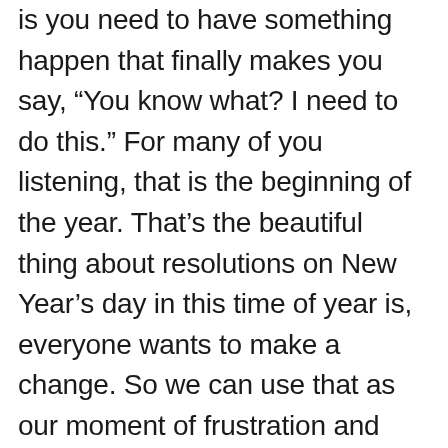is you need to have something happen that finally makes you say, “You know what? I need to do this.” For many of you listening, that is the beginning of the year. That’s the beautiful thing about resolutions on New Year’s day in this time of year is, everyone wants to make a change. So we can use that as our moment of frustration and inspiration. But the key is in stage two, which is when we start looking at what our options are and how we can incorporate more of these activities, the painting, the drawing, the art into our life, that we need to then find a